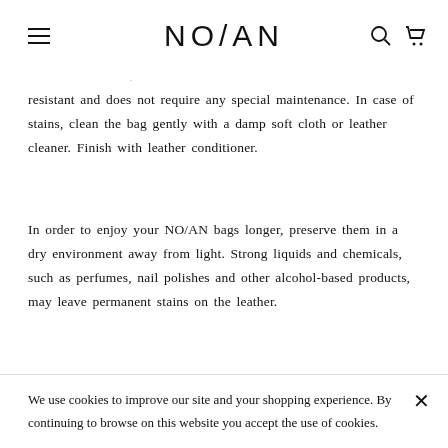NO/AN
resistant and does not require any special maintenance. In case of stains, clean the bag gently with a damp soft cloth or leather cleaner. Finish with leather conditioner.
In order to enjoy your NO/AN bags longer, preserve them in a dry environment away from light. Strong liquids and chemicals, such as perfumes, nail polishes and other alcohol-based products, may leave permanent stains on the leather.
We use cookies to improve our site and your shopping experience. By continuing to browse on this website you accept the use of cookies.